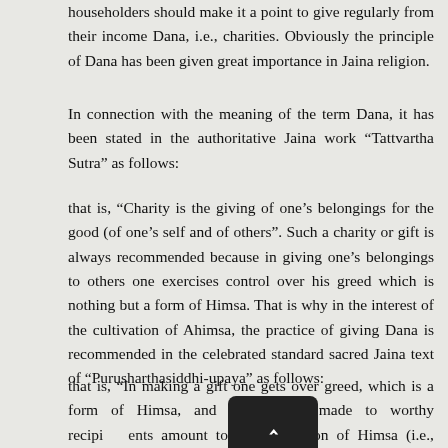householders should make it a point to give regularly from their income Dana, i.e., charities. Obviously the principle of Dana has been given great importance in Jaina religion.
In connection with the meaning of the term Dana, it has been stated in the authoritative Jaina work “Tattvartha Sutra” as follows:
that is, “Charity is the giving of one’s belongings for the good (of one’s self and of others”. Such a charity or gift is always recommended because in giving one’s belongings to others one exercises control over his greed which is nothing but a form of Himsa. That is why in the interest of the cultivation of Ahimsa, the practice of giving Dana is recommended in the celebrated standard sacred Jaina text of “Purusharthasiddhi-upaya” as follows:
that is, “In making a gift one gets over greed, which is a form of Himsa, and hence gifts made to worthy recipients amount to a renunciation of Himsa (i.e., amount to avoidance of